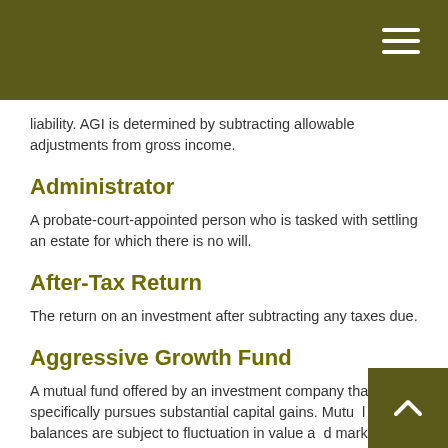liability. AGI is determined by subtracting allowable adjustments from gross income.
Administrator
A probate-court-appointed person who is tasked with settling an estate for which there is no will.
After-Tax Return
The return on an investment after subtracting any taxes due.
Aggressive Growth Fund
A mutual fund offered by an investment company that specifically pursues substantial capital gains. Mutual fund balances are subject to fluctuation in value and market risk. Shares, when redeemed, may be worth